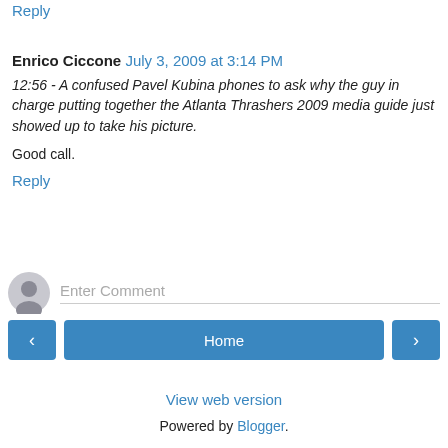Reply
Enrico Ciccone  July 3, 2009 at 3:14 PM
12:56 - A confused Pavel Kubina phones to ask why the guy in charge putting together the Atlanta Thrashers 2009 media guide just showed up to take his picture.
Good call.
Reply
Enter Comment
Home
View web version
Powered by Blogger.